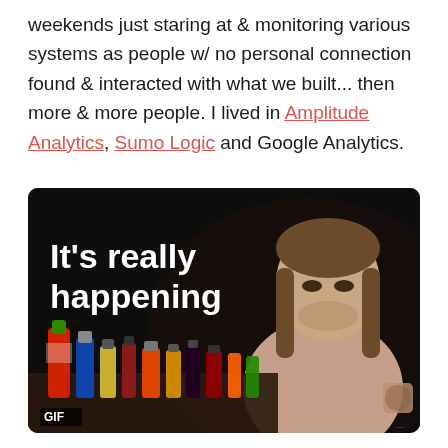weekends just staring at & monitoring various systems as people w/ no personal connection found & interacted with what we built... then more & more people. I lived in Amplitude Analytics, Sumo Logic and Google Analytics.
[Figure (photo): GIF image of a person (Post Malone) at a table with hot sauce bottles, with text overlay reading 'It's really happening'. A 'GIF' label appears in the bottom-left corner.]